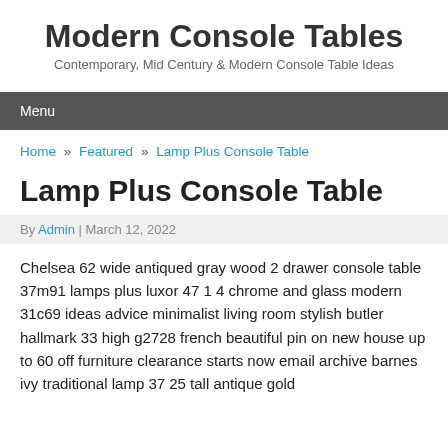Modern Console Tables
Contemporary, Mid Century & Modern Console Table Ideas
Menu
Home » Featured » Lamp Plus Console Table
Lamp Plus Console Table
By Admin | March 12, 2022
Chelsea 62 wide antiqued gray wood 2 drawer console table 37m91 lamps plus luxor 47 1 4 chrome and glass modern 31c69 ideas advice minimalist living room stylish butler hallmark 33 high g2728 french beautiful pin on new house up to 60 off furniture clearance starts now email archive barnes ivy traditional lamp 37 25 tall antique gold